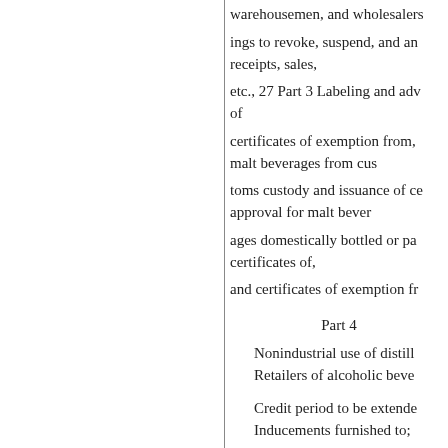warehousemen, and wholesalers
ings to revoke, suspend, and an receipts, sales,
etc., 27 Part 3 Labeling and adv of
certificates of exemption from, malt beverages from cus
toms custody and issuance of ce approval for malt bever
ages domestically bottled or pa certificates of,
and certificates of exemption fr
Part 4
Nonindustrial use of distill
Retailers of alcoholic beve
Credit period to be extende
Inducements furnished to;
equipment, fixtures, signs,
things of value to retailers